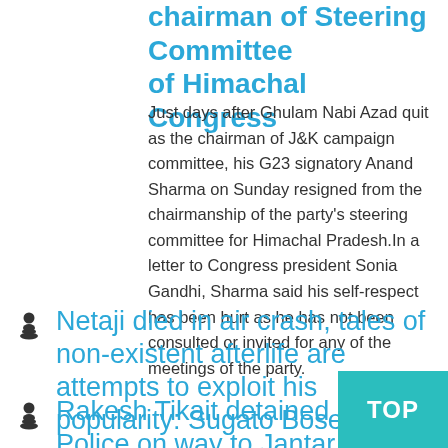chairman of Steering Committee of Himachal Congress
Just days after Ghulam Nabi Azad quit as the chairman of J&K campaign committee, his G23 signatory Anand Sharma on Sunday resigned from the chairmanship of the party's steering committee for Himachal Pradesh.In a letter to Congress president Sonia Gandhi, Sharma said his self-respect has been hurt as he has not been consulted or invited for any of the meetings of the party.
Netaji died in air crash, tales of non-existent afterlife are attempts to exploit his popularity: Sugato Bose
Rakesh Tikait detained by Police on way to Jantar M